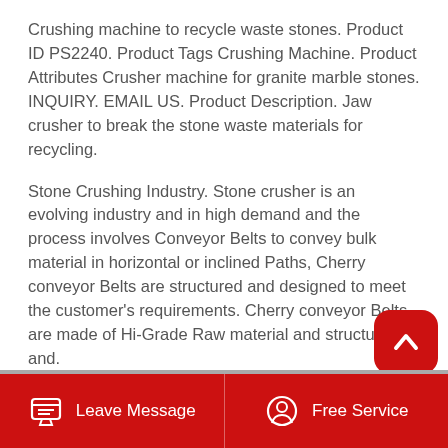Crushing machine to recycle waste stones. Product ID PS2240. Product Tags Crushing Machine. Product Attributes Crusher machine for granite marble stones. INQUIRY. EMAIL US. Product Description. Jaw crusher to break the stone waste materials for recycling.
Stone Crushing Industry. Stone crusher is an evolving industry and in high demand and the process involves Conveyor Belts to convey bulk material in horizontal or inclined Paths, Cherry conveyor Belts are structured and designed to meet the customer's requirements. Cherry conveyor Belts are made of Hi-Grade Raw material and structured and.
Read More →
[Figure (other): Red rounded scroll-to-top button with white upward chevron arrow icon]
Leave Message   Free Service